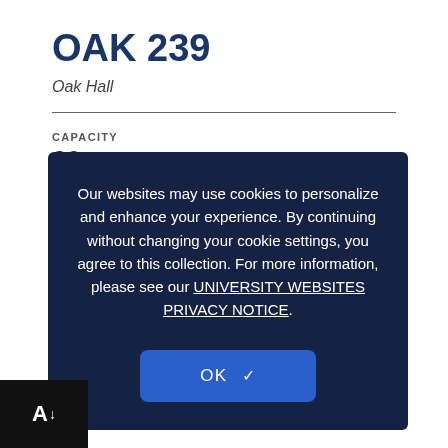OAK 239
Oak Hall
CAPACITY
20
VIDEO CONFERENCE
None
WEBEX
Audio &
LECTURE CAPTURE
Self-Service Recording
Our websites may use cookies to personalize and enhance your experience. By continuing without changing your cookie settings, you agree to this collection. For more information, please see our UNIVERSITY WEBSITES PRIVACY NOTICE.
OK ✓